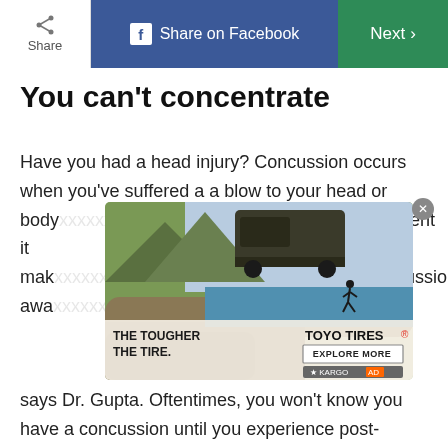Share | Share on Facebook | Next >
You can't concentrate
Have you had a head injury? Concussion occurs when you've suffered a a blow to your head or body that is violent enough that it makes your brain move around in the concussion awareness
[Figure (photo): Toyo Tires advertisement featuring a Jeep on rocky terrain with mountains and a runner in background. Text reads: THE TOUGHER THE TIRE. TOYO TIRES. EXPLORE MORE. KARGO AD.]
says Dr. Gupta. Oftentimes, you won't know you have a concussion until you experience post-trauma—you're struggling to concentrate or have sudden memory loss. If this happens, you should seek medical attention and stay awake until you see a professional.